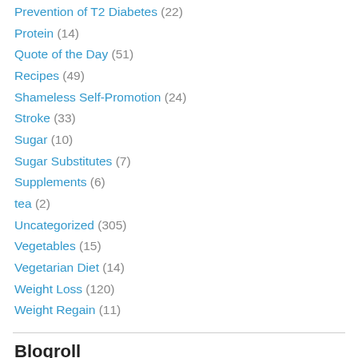Prevention of T2 Diabetes (22)
Protein (14)
Quote of the Day (51)
Recipes (49)
Shameless Self-Promotion (24)
Stroke (33)
Sugar (10)
Sugar Substitutes (7)
Supplements (6)
tea (2)
Uncategorized (305)
Vegetables (15)
Vegetarian Diet (14)
Weight Loss (120)
Weight Regain (11)
Blogroll
Advanced Mediterranean Life
Diabetes Daily